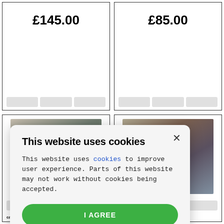£145.00
£85.00
[Figure (photo): Woman in pirate costume holding a sword, Pirates of the Caribbean character]
[Figure (photo): Man dressed as Jack Sparrow / Johnny Depp pirate character from Pirates of the Caribbean]
pp autograph 1 the Caribbean)
This website uses cookies
This website uses cookies to improve user experience. Parts of this website may not work without cookies being accepted.
I AGREE